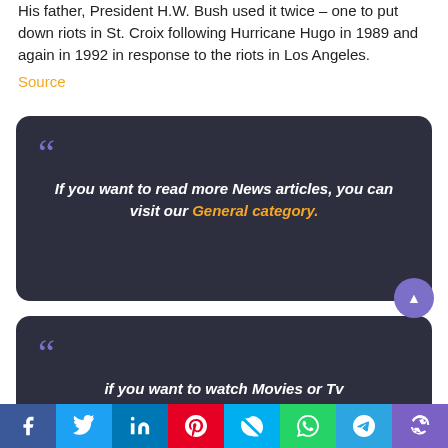His father, President H.W. Bush used it twice – one to put down riots in St. Croix following Hurricane Hugo in 1989 and again in 1992 in response to the riots in Los Angeles.
Source
If you want to read more News articles, you can visit our General category.
if you want to watch Movies or Tv